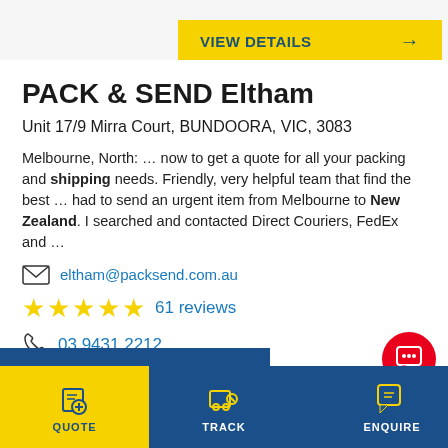[Figure (screenshot): Yellow VIEW DETAILS button with arrow]
PACK & SEND Eltham
Unit 17/9 Mirra Court, BUNDOORA, VIC, 3083
Melbourne, North: … now to get a quote for all your packing and shipping needs. Friendly, very helpful team that find the best … had to send an urgent item from Melbourne to New Zealand. I searched and contacted Direct Couriers, FedEx and …
eltham@packsend.com.au
★★★★★ 61 reviews
03 9431 2212
QUOTE | TRACK | STORES | ENQUIRE